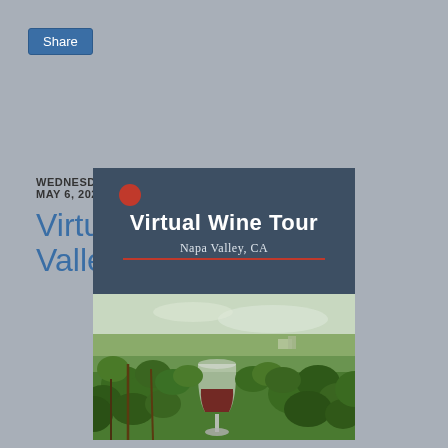Share
WEDNESDAY, MAY 6, 2020
Virtual Vacation: Napa Valley
[Figure (photo): Virtual Wine Tour promotional card for Napa Valley, CA. Top half is a dark slate-blue panel with a red circle, the text 'Virtual Wine Tour' in bold white handwritten font, 'Napa Valley, CA' in light text below with a red underline. Bottom half shows a photograph of a wine glass filled with red wine in a vineyard with green grapevines and a countryside landscape in the background.]